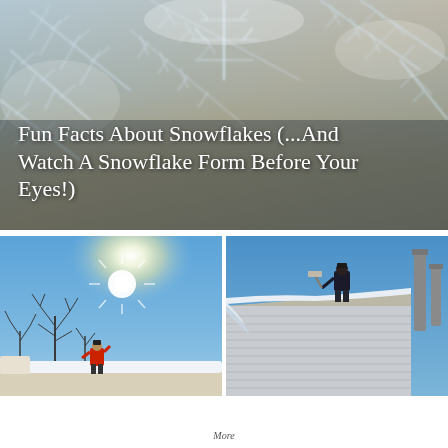[Figure (photo): Close-up macro photograph of frost/ice crystals and snowflakes on a surface, with a warm brownish background visible through the crystalline structures. Colors: cool blues, white, grey.]
Fun Facts About Snowflakes (...And Watch A Snowflake Form Before Your Eyes!)
[Figure (photo): Two side-by-side outdoor winter photos. Left: A person in red jacket standing on a snowy rooftop shoveling snow, bright sun and bare trees visible against blue sky. Right: A person in dark jacket on a snowy rooftop shoveling snow off the edge, with house siding and a metal pipe visible, blue sky background.]